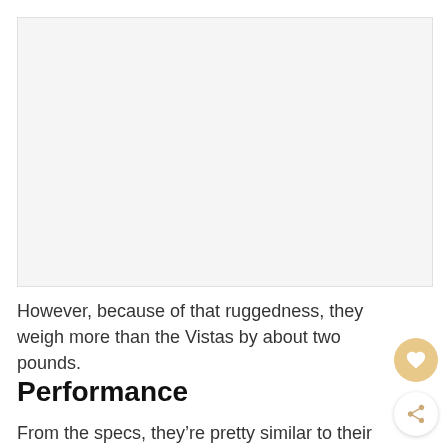[Figure (photo): Large blank/light grey image placeholder area at the top of the page]
However, because of that ruggedness, they weigh more than the Vistas by about two pounds.
Performance
From the specs, they're pretty similar to their